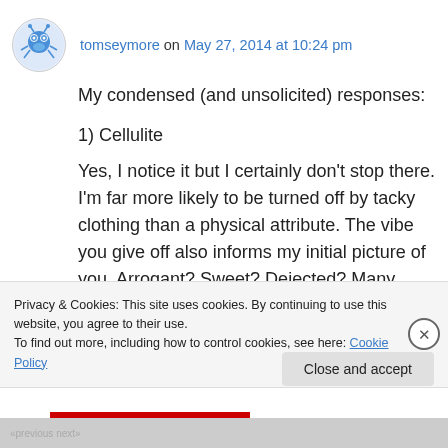tomseymore on May 27, 2014 at 10:24 pm
My condensed (and unsolicited) responses:
1) Cellulite
Yes, I notice it but I certainly don’t stop there. I’m far more likely to be turned off by tacky clothing than a physical attribute. The vibe you give off also informs my initial picture of you. Arrogant? Sweet? Dejected? Many guys can actually
Privacy & Cookies: This site uses cookies. By continuing to use this website, you agree to their use.
To find out more, including how to control cookies, see here: Cookie Policy
Close and accept